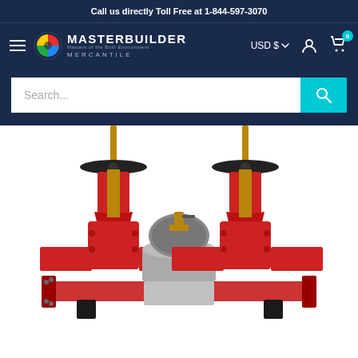Call us directly Toll Free at 1-844-597-3070
[Figure (logo): Masterbuilder Mercantile logo with colorful globe icon and white text on dark navy background, navigation bar with hamburger menu, USD currency selector, user account icon, and shopping cart icon with 0 badge]
[Figure (other): Search bar with placeholder text 'Search...' and teal search button with magnifying glass icon on dark navy background]
[Figure (photo): Industrial backflow preventer assembly with two red gate valves with black handwheels on each side and a central stainless steel check valve body with brass test cocks, photographed on white background]